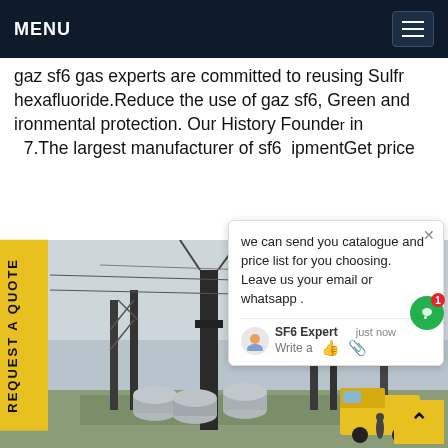MENU
gaz sf6 gas experts are committed to reusing Sulfr hexafluoride.Reduce the use of gaz sf6, Green and ironmental protection. Our History Founded in 7.The largest manufacturer of sf6 ipmentGet price
[Figure (photo): Electrical substation/switchyard with transmission towers, large cylindrical SF6 gas-insulated equipment, and a yellow service vehicle]
we can send you catalogue and price list for you choosing.
Leave us your email or whatsapp .
SF6 Expert   just now
Write a